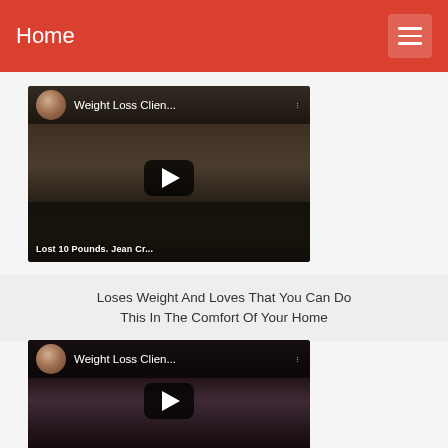Home
[Figure (screenshot): YouTube-style video thumbnail showing 'Weight Loss Clien...' with play button and text 'Lost 10 Pounds. Jean Cr...' at bottom]
Loses Weight And Loves That You Can Do This In The Comfort Of Your Home
[Figure (screenshot): YouTube-style video thumbnail showing 'Weight Loss Clien...' with play button, showing a person in purple clothing]